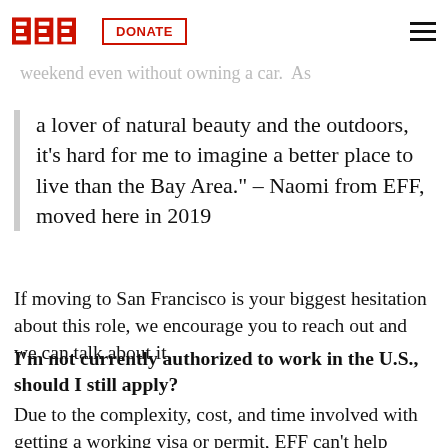EFF logo | DONATE | hamburger menu
EFF office and the lemon tree in my rd. And I g er weekend even without owning a car. As
a lover of natural beauty and the outdoors, it's hard for me to imagine a better place to live than the Bay Area." – Naomi from EFF, moved here in 2019
If moving to San Francisco is your biggest hesitation about this role, we encourage you to reach out and we can talk about it.
I'm not currently authorized to work in the U.S., should I still apply?
Due to the complexity, cost, and time involved with getting a working visa or permit, EFF can't help